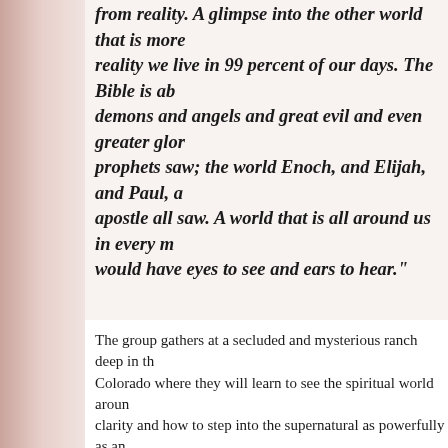from reality. A glimpse into the other world that is more real than the reality we live in 99 percent of our days. The Bible is ab... demons and angels and great evil and even greater glory... prophets saw; the world Enoch, and Elijah, and Paul, a... apostle all saw. A world that is all around us in every mo... would have eyes to see and ears to hear."
The group gathers at a secluded and mysterious ranch deep in th... Colorado where they will learn to see the spiritual world aroun... clarity and how to step into the supernatural as powerfully as an... The four have a destiny to battle for a freedom even Reece does... However, they have an enemy determined to destroy them — o... nothing to keep them from their quest for true freedom and the...
There’s no doubt that Rubart has found his niche. In addition to... readers, his previous releases have garnered critical acclaim a... of best-seller lists. His first novel, Rooms (2010), won a Best Bo... USA Book News, as well as a Romantic Times Book Reviews R... Award.